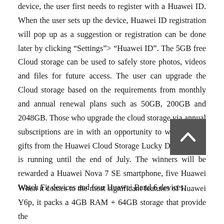device, the user first needs to register with a Huawei ID. When the user sets up the device, Huawei ID registration will pop up as a suggestion or registration can be done later by clicking “Settings”> “Huawei ID”. The 5GB free Cloud storage can be used to safely store photos, videos and files for future access. The user can upgrade the Cloud storage based on the requirements from monthly and annual renewal plans such as 50GB, 200GB and 2048GB. Those who upgrade the cloud storage via annual subscriptions are in with an opportunity to win exciting gifts from the Huawei Cloud Storage Lucky Draw, which is running until the end of July. The winners will be rewarded a Huawei Nova 7 SE smartphone, five Huawei Watch Fit devices and four Huawei Band 6 devices.
[Figure (other): Dark grey square button with a white upward-pointing chevron arrow, used as a scroll-to-top button]
When it comes to the most significant features of Huawei Y6p, it packs a 4GB RAM + 64GB storage that provide the